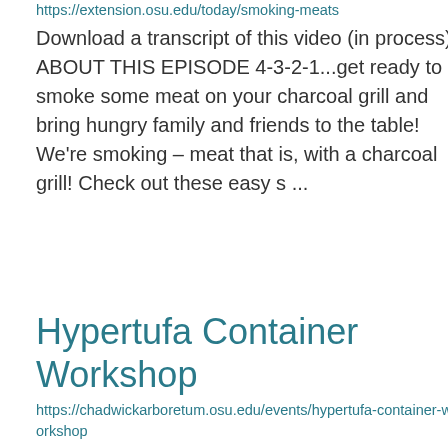https://extension.osu.edu/today/smoking-meats
Download a transcript of this video (in process) ABOUT THIS EPISODE 4-3-2-1...get ready to smoke some meat on your charcoal grill and bring hungry family and friends to the table! We're smoking – meat that is, with a charcoal grill! Check out these easy s ...
Hypertufa Container Workshop
https://chadwickarboretum.osu.edu/events/hypertufa-container-workshop
FULL:HYPERTUFA CONTAINER WORKSHOP
In this 2-part workshop, Allen Fabian, Chadwick Arboretum Volunteer, will teach